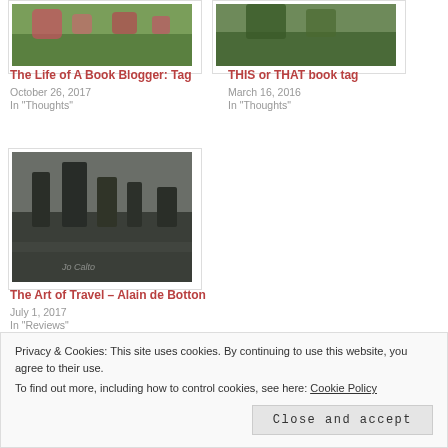[Figure (photo): Garden/flowers photo thumbnail - top left post card]
The Life of A Book Blogger: Tag
October 26, 2017
In "Thoughts"
[Figure (photo): Outdoor/nature photo thumbnail - top right post card]
THIS or THAT book tag
March 16, 2016
In "Thoughts"
[Figure (photo): Dark evening outdoor scene with trees - bottom left post card]
The Art of Travel – Alain de Botton
July 1, 2017
In "Reviews"
Privacy & Cookies: This site uses cookies. By continuing to use this website, you agree to their use.
To find out more, including how to control cookies, see here: Cookie Policy
Close and accept